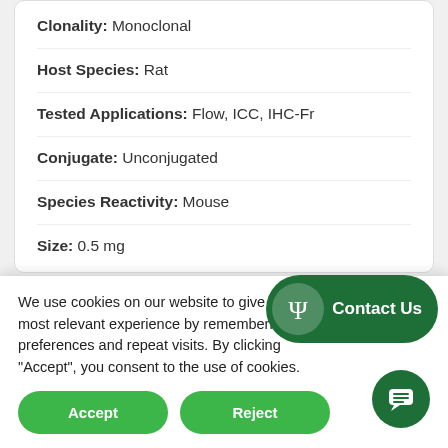Clonality: Monoclonal
Host Species: Rat
Tested Applications: Flow, ICC, IHC-Fr
Conjugate: Unconjugated
Species Reactivity: Mouse
Size: 0.5 mg
We use cookies on our website to give you the most relevant experience by remembering your preferences and repeat visits. By clicking “Accept”, you consent to the use of cookies.
Accept
Reject
Contact Us